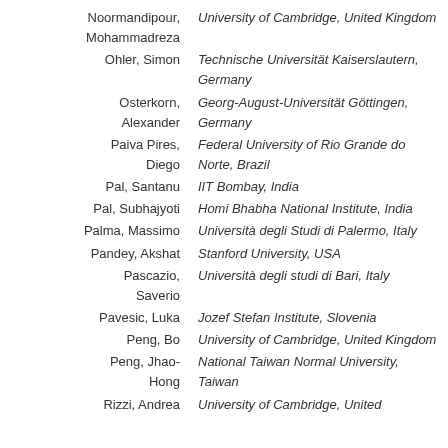Noormandipour, Mohammadreza | University of Cambridge, United Kingdom
Ohler, Simon | Technische Universität Kaiserslautern, Germany
Osterkorn, Alexander | Georg-August-Universität Göttingen, Germany
Paiva Pires, Diego | Federal University of Rio Grande do Norte, Brazil
Pal, Santanu | IIT Bombay, India
Pal, Subhajyoti | Homi Bhabha National Institute, India
Palma, Massimo | Università degli Studi di Palermo, Italy
Pandey, Akshat | Stanford University, USA
Pascazio, Saverio | Università degli studi di Bari, Italy
Pavesic, Luka | Jozef Stefan Institute, Slovenia
Peng, Bo | University of Cambridge, United Kingdom
Peng, Jhao-Hong | National Taiwan Normal University, Taiwan
Rizzi, Andrea | University of Cambridge, United